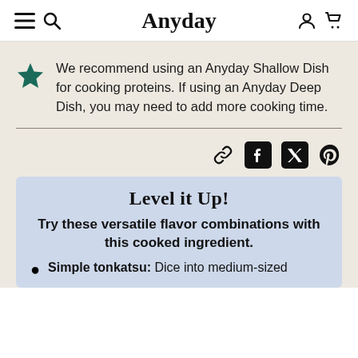Anyday
We recommend using an Anyday Shallow Dish for cooking proteins. If using an Anyday Deep Dish, you may need to add more cooking time.
[Figure (infographic): Share icons: link, Facebook, Twitter, Pinterest]
Level it Up!
Try these versatile flavor combinations with this cooked ingredient.
Simple tonkatsu: Dice into medium-sized